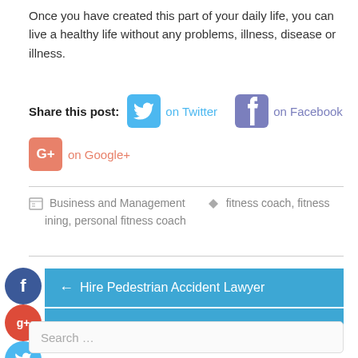Once you have created this part of your daily life, you can live a healthy life without any problems, illness, disease or illness.
Share this post: on Twitter on Facebook on Google+
Business and Management   fitness coach, fitness ining, personal fitness coach
← Hire Pedestrian Accident Lawyer
Choose A Dependent Locksmith →
Search …